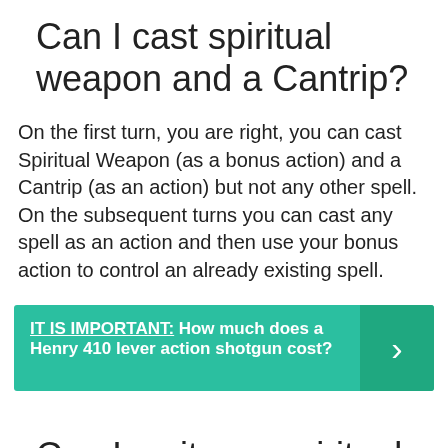Can I cast spiritual weapon and a Cantrip?
On the first turn, you are right, you can cast Spiritual Weapon (as a bonus action) and a Cantrip (as an action) but not any other spell. On the subsequent turns you can cast any spell as an action and then use your bonus action to control an already existing spell.
IT IS IMPORTANT: How much does a Henry 410 lever action shotgun cost?
Can I smite on spiritual weapon?